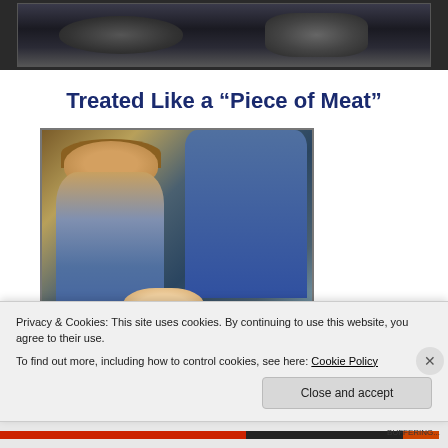[Figure (photo): Top portion of a webpage showing a dark/mechanical image at the top, cropped partially]
Treated Like a “Piece of Meat”
[Figure (photo): Photo of people in blue medical gowns in what appears to be a medical/birth setting, with a baby visible]
Privacy & Cookies: This site uses cookies. By continuing to use this website, you agree to their use.
To find out more, including how to control cookies, see here: Cookie Policy